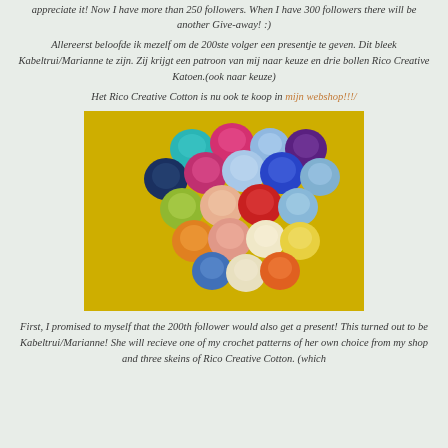appreciate it! Now I have more than 250 followers. When I have 300 followers there will be another Give-away! :)
Allereerst beloofde ik mezelf om de 200ste volger een presentje te geven. Dit bleek Kabeltrui/Marianne te zijn. Zij krijgt een patroon van mij naar keuze en drie bollen Rico Creative Katoen.(ook naar keuze)
Het Rico Creative Cotton is nu ook te koop in mijn webshop!!!
[Figure (photo): A collection of colorful yarn balls/skeins arranged in a heart-like shape on a yellow background. Colors include teal, magenta/pink, light blue, navy, royal blue, purple, yellow-green, peach/salmon, red, light blue, orange, cream/white, yellow, and orange at the bottom.]
First, I promised to myself that the 200th follower would also get a present! This turned out to be Kabeltrui/Marianne! She will recieve one of my crochet patterns of her own choice from my shop and three skeins of Rico Creative Cotton. (which